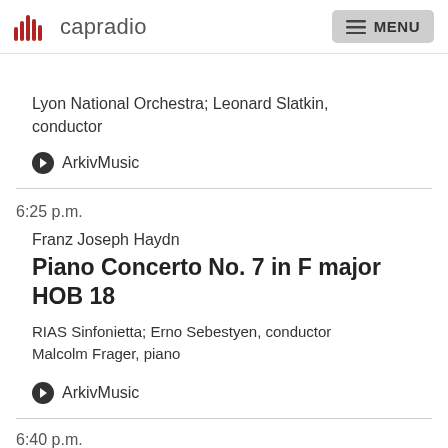capradio | MENU
Lyon National Orchestra; Leonard Slatkin, conductor
ArkivMusic
6:25 p.m.
Franz Joseph Haydn
Piano Concerto No. 7 in F major HOB 18
RIAS Sinfonietta; Erno Sebestyen, conductor
Malcolm Frager, piano
ArkivMusic
6:40 p.m.